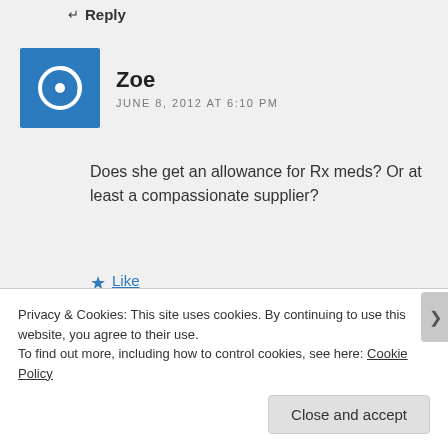↵ Reply
Zoe
JUNE 8, 2012 AT 6:10 PM
Does she get an allowance for Rx meds? Or at least a compassionate supplier?
★ Like
★★★★★ ℹ 2 Votes
↵ Reply
Privacy & Cookies: This site uses cookies. By continuing to use this website, you agree to their use.
To find out more, including how to control cookies, see here: Cookie Policy
Close and accept